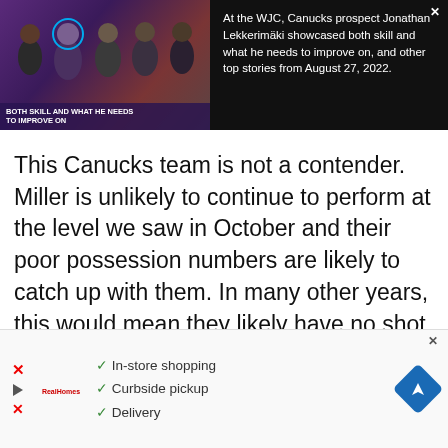[Figure (screenshot): Video thumbnail showing group of people on a sports broadcast set with purple/dark background. Text overlay reads BOTH SKILL AND WHAT HE NEEDS TO IMPROVE ON]
At the WJC, Canucks prospect Jonathan Lekkerimäki showcased both skill and what he needs to improve on, and other top stories from August 27, 2022.
This Canucks team is not a contender. Miller is unlikely to continue to perform at the level we saw in October and their poor possession numbers are likely to catch up with them. In many other years, this would mean they likely have no shot at a spot in the postseason, but that doesn't mean this team is not a hell of a lot of fun to watch.
[Figure (screenshot): Advertisement showing checklist: In-store shopping, Curbside pickup, Delivery with a navigation/directions icon]